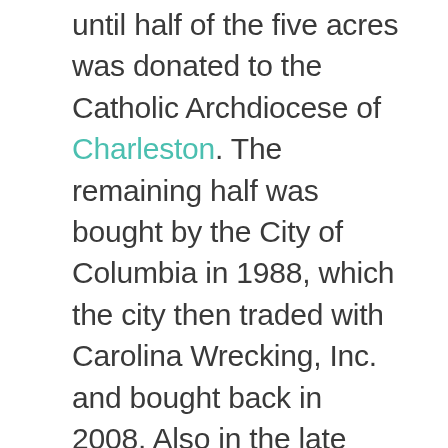until half of the five acres was donated to the Catholic Archdiocese of Charleston. The remaining half was bought by the City of Columbia in 1988, which the city then traded with Carolina Wrecking, Inc. and bought back in 2008. Also in the late 1980s, the city acquired the Bernard Circle houses, which were subsequently demolished so as to relocate rail lines for the CSX Railroad. Today the cemetery property is held by six owners, including the City of Columbia, CSX Railroad, the Archdiocese of Charleston, and the Church of Christ, which eventually bought the church property from Park Street Pentecostal Holiness.